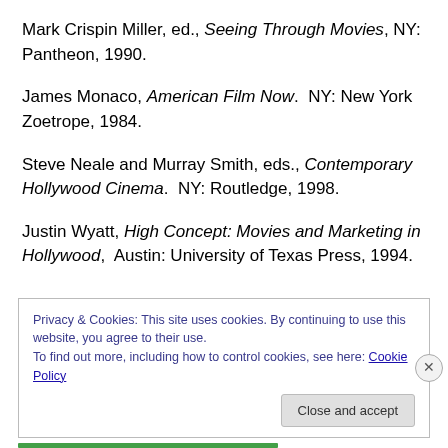Mark Crispin Miller, ed., Seeing Through Movies, NY: Pantheon, 1990.
James Monaco, American Film Now.  NY: New York Zoetrope, 1984.
Steve Neale and Murray Smith, eds., Contemporary Hollywood Cinema.  NY: Routledge, 1998.
Justin Wyatt, High Concept: Movies and Marketing in Hollywood,  Austin: University of Texas Press, 1994.
Privacy & Cookies: This site uses cookies. By continuing to use this website, you agree to their use.
To find out more, including how to control cookies, see here: Cookie Policy